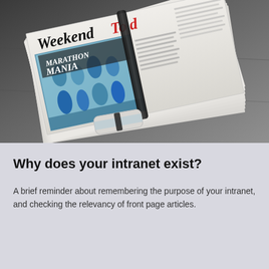[Figure (photo): A stack of newspapers bundled with a black elastic band, lying on a concrete surface. The top newspaper shows 'Weekend Today' masthead and a headline reading 'Marathon Mania' with a colorful image of runners.]
Why does your intranet exist?
A brief reminder about remembering the purpose of your intranet, and checking the relevancy of front page articles.